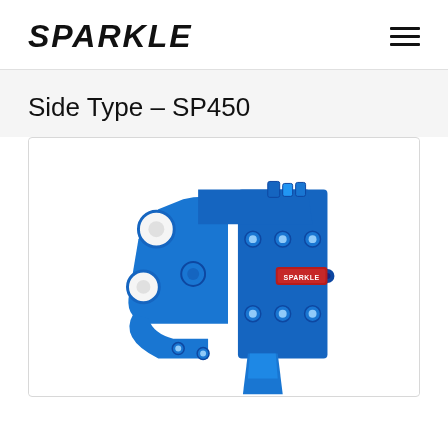SPARKLE
Side Type - SP450
[Figure (photo): Blue hydraulic breaker/hammer attachment SP450 by Sparkle, showing side-type mounting bracket with bolt holes and chisel, labeled with SPARKLE brand badge and SP450 model number]